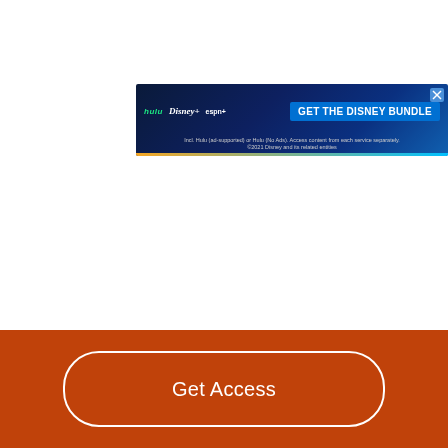[Figure (other): Disney Bundle advertisement banner showing Hulu, Disney+, ESPN+ logos with 'GET THE DISNEY BUNDLE' call-to-action button. Small print reads: 'Incl. Hulu (ad-supported) or Hulu (No Ads). Access content from each service separately. ©2021 Disney and its related entities']
Get Access